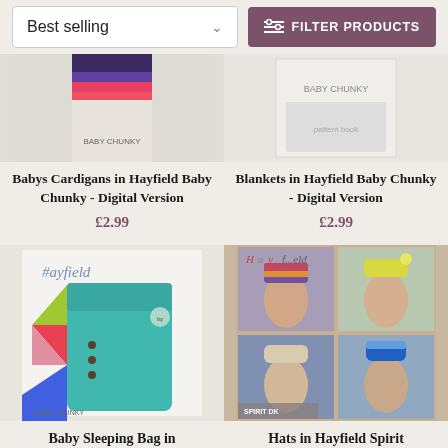[Figure (screenshot): Best selling sort dropdown and Filter Products button toolbar]
[Figure (photo): Babys Cardigans in Hayfield Baby Chunky product image - colorful knitting pattern book cover]
Babys Cardigans in Hayfield Baby Chunky - Digital Version
£2.99
[Figure (photo): Blankets in Hayfield Baby Chunky product image - pattern book cover]
Blankets in Hayfield Baby Chunky - Digital Version
£2.99
[Figure (photo): Baby Sleeping Bag in Hayfield Baby Chunky product image - teal knitted sleeping bag]
Baby Sleeping Bag in
[Figure (photo): Hats in Hayfield Spirit DK product image - four women wearing colorful knitted hats]
Hats in Hayfield Spirit